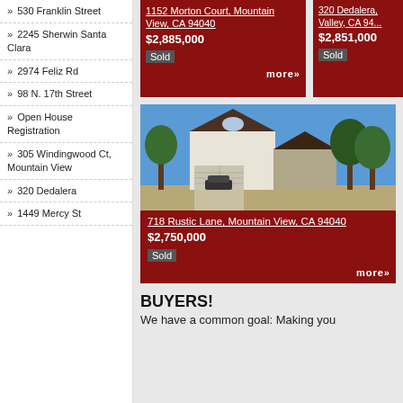» 530 Franklin Street
» 2245 Sherwin Santa Clara
» 2974 Feliz Rd
» 98 N. 17th Street
» Open House Registration
» 305 Windingwood Ct, Mountain View
» 320 Dedalera
» 1449 Mercy St
[Figure (photo): Property listing card for 1152 Morton Court, Mountain View, CA 94040, sold for $2,885,000]
[Figure (photo): Property listing card for 320 Dedalera, partially visible]
[Figure (photo): Photo of house at 718 Rustic Lane, Mountain View, CA 94040 - two-story white house with garage]
718 Rustic Lane, Mountain View, CA 94040
$2,750,000
Sold
more»
BUYERS!
We have a common goal: Making you